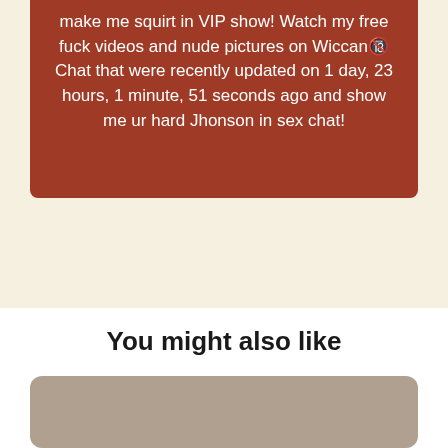make me squirt in VIP show! Watch my free fuck videos and nude pictures on Wiccan🔞 Chat that were recently updated on 1 day, 23 hours, 1 minute, 51 seconds ago and show me ur hard Jhonson in sex chat!
You might also like
[Figure (photo): A young woman in a black outfit posing in a room with a striped stone wall, artwork on the wall including a guitar, and cushions visible in the background.]